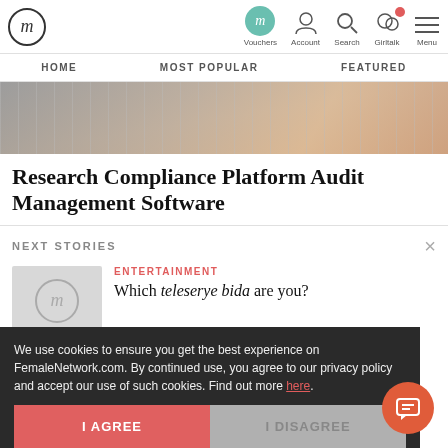FemaleNetwork.com - Vouchers | Account | Search | Girltalk | Menu
HOME | MOST POPULAR | FEATURED
[Figure (photo): Hero image showing a calculator and financial papers on a desk]
Research Compliance Platform Audit Management Software
NEXT STORIES
[Figure (logo): FemaleNetwork.com logo thumbnail placeholder]
ENTERTAINMENT
Which teleserye bida are you?
We use cookies to ensure you get the best experience on FemaleNetwork.com. By continued use, you agree to our privacy policy and accept our use of such cookies. Find out more here.
I AGREE
I DISAGREE